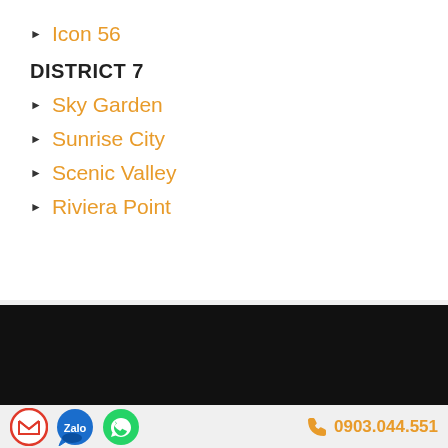Icon 56
DISTRICT 7
Sky Garden
Sunrise City
Scenic Valley
Riviera Point
0903.044.551